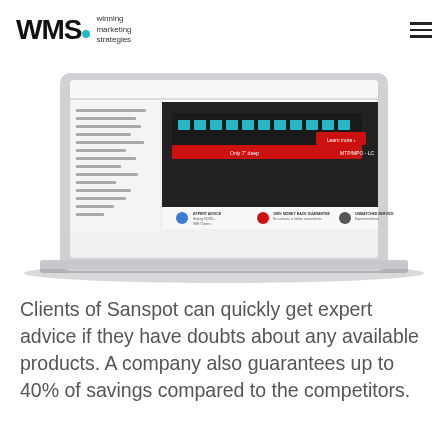[Figure (logo): WMS logo with teal dot and text 'winning marketing strategies']
[Figure (screenshot): Laptop (MacBook Air) displaying a website for fiber optic cable products with red and white design, showing product image, navigation, and trust badges including 'Expert Advice', '100% Money Back Guarantee', and 'Unmatched Service']
Clients of Sanspot can quickly get expert advice if they have doubts about any available products. A company also guarantees up to 40% of savings compared to the competitors.